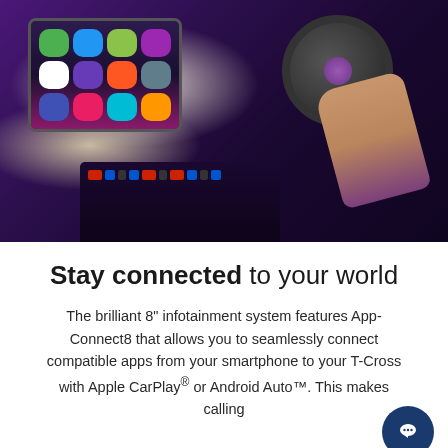[Figure (photo): Interior of a Volkswagen T-Cross car showing the 8-inch touchscreen infotainment system displaying app icons, a steering wheel with VW logo, a hand on the steering wheel wearing a purple sleeve, and the center console with controls. Purple/violet ambient lighting throughout.]
Stay connected to your world
The brilliant 8" infotainment system features App-Connect8 that allows you to seamlessly connect compatible apps from your smartphone to your T-Cross with Apple CarPlay® or Android Auto™. This makes calling